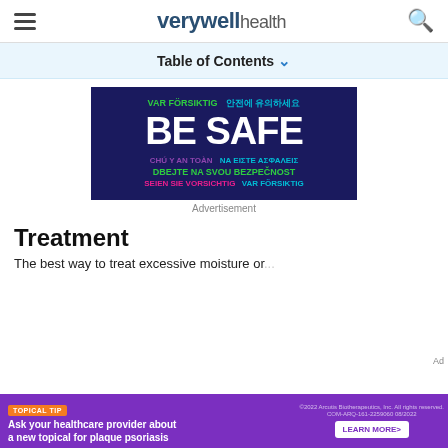verywell health
Table of Contents
[Figure (illustration): Dark navy background advertisement with multilingual 'BE SAFE' text in large white letters, surrounded by safety phrases in Swedish, Korean, Vietnamese, Greek, Czech, and German in various colors (green, teal, magenta).]
Advertisement
Treatment
The best way to treat excessive moisture or...
[Figure (other): Purple bottom banner advertisement with orange 'TOPICAL TIP' badge, text 'Ask your healthcare provider about a new topical for plaque psoriasis', and 'LEARN MORE>' button.]